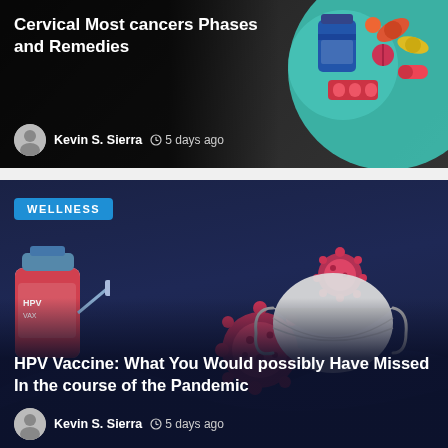[Figure (screenshot): Article card with dark background showing medical illustration of pills and medicine bottles. Article about Cervical Cancer.]
Cervical Most cancers Phases and Remedies
Kevin S. Sierra  5 days ago
[Figure (screenshot): Article card with dark navy background showing illustration of virus particles, face mask, and vaccine bottle. WELLNESS category badge.]
WELLNESS
HPV Vaccine: What You Would possibly Have Missed In the course of the Pandemic
Kevin S. Sierra  5 days ago